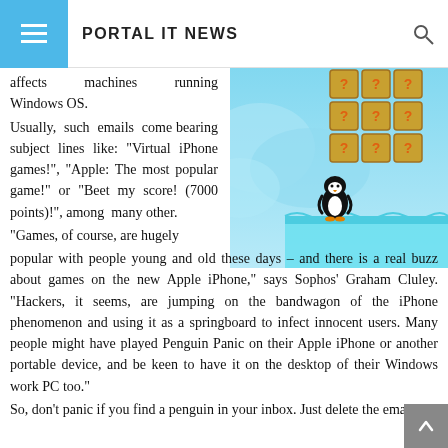PORTAL IT NEWS
[Figure (screenshot): Screenshot of Penguin Panic game showing a pixel-art penguin character on a platform with question-mark blocks in the background, set against a blue icy landscape.]
affects machines running Windows OS. Usually, such emails come bearing subject lines like: “Virtual iPhone games!”, “Apple: The most popular game!” or “Beet my score! (7000 points)!”, among many other. “Games, of course, are hugely popular with people young and old these days – and there is a real buzz about games on the new Apple iPhone,” says Sophos’ Graham Cluley. “Hackers, it seems, are jumping on the bandwagon of the iPhone phenomenon and using it as a springboard to infect innocent users. Many people might have played Penguin Panic on their Apple iPhone or another portable device, and be keen to have it on the desktop of their Windows work PC too.” So, don’t panic if you find a penguin in your inbox. Just delete the email.